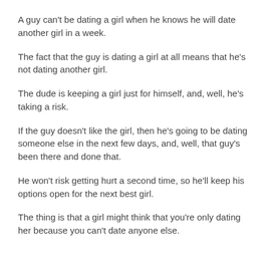A guy can't be dating a girl when he knows he will date another girl in a week.
The fact that the guy is dating a girl at all means that he's not dating another girl.
The dude is keeping a girl just for himself, and, well, he's taking a risk.
If the guy doesn't like the girl, then he's going to be dating someone else in the next few days, and, well, that guy's been there and done that.
He won't risk getting hurt a second time, so he'll keep his options open for the next best girl.
The thing is that a girl might think that you're only dating her because you can't date anyone else.